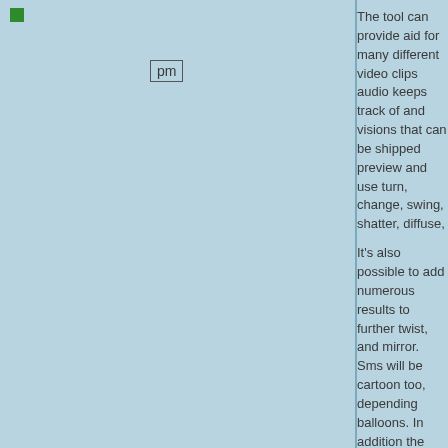[Figure (other): Small green square icon in top-left corner]
pm
The tool can provide aid for many different video clips audio keeps track of and visions that can be shipped preview and use turn, change, swing, shatter, diffuse,
It's also possible to add numerous results to further twist, and mirror. Sms will be cartoon too, depending balloons. In addition the actuality which you could imp capture your tone of voice having a mic if you want to
Create DVD and Blu-ray discs
AVS Video Editor has choices that will help you create ways themed selections (e.g. holiday, record, cake) a media selection, toned videos into smaller areas, adj to mention set up online video stabilization controls.
At the time the task is completed, it is possible to crea grouped together subject matter which might be playe available the motion picture for internet posting, whic
Descriptive dvd editor with user-friendly various optio
The assignment is generally rescued to file and subse You may as well grab video clips by capturing the mo component ratio, let autosave function, trigger advan standard.
We haven't come across any compatibility considerati Editor License Key have marginal effects on the comp features, this app definitely should satisfy the qualifica performing video editor.